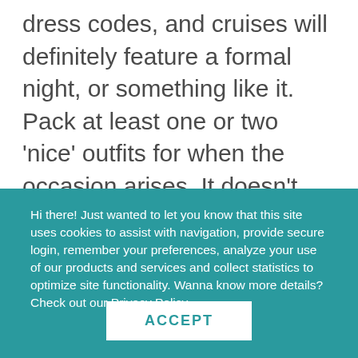dress codes, and cruises will definitely feature a formal night, or something like it. Pack at least one or two 'nice' outfits for when the occasion arises. It doesn't need to be super fancy (unless the dress code specifically states black tie), but khaki dress pants, collared shirts, a few nice
Hi there! Just wanted to let you know that this site uses cookies to assist with navigation, provide secure login, remember your preferences, analyze your use of our products and services and collect statistics to optimize site functionality. Wanna know more details? Check out our Privacy Policy.
ACCEPT